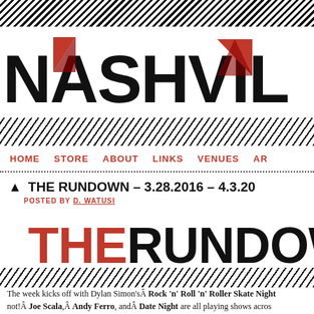[Figure (screenshot): Top diagonal hatching texture band]
[Figure (logo): Nashville Scene logo with large bold black letters NASHVILLE with red triangle geometric accents on A and V letters]
[Figure (illustration): Diagonal hatching stripe texture divider]
HOME   STORE   ABOUT   LINKS   VENUES   AR...
▲ THE RUNDOWN – 3.28.2016 – 4.3.20...
POSTED BY D. WATUSI
[Figure (logo): THE RUNDOWN text logo with THE in red and RUNDOWN in black, bold, large font]
[Figure (illustration): Diagonal hatching stripe texture divider below rundown logo]
The week kicks off with Dylan Simon's Â Rock 'n' Roll 'n' Roller Skate Night not!Â Joe Scala,Â Andy Ferro, andÂ Date Night are all playing shows acros... happening on Friday, and theÂ Christ Four tape release is on Saturday. And